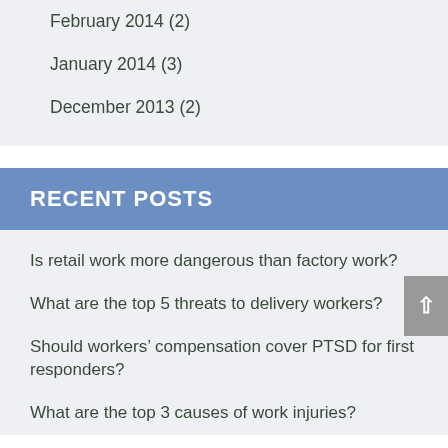February 2014 (2)
January 2014 (3)
December 2013 (2)
RECENT POSTS
Is retail work more dangerous than factory work?
What are the top 5 threats to delivery workers?
Should workers’ compensation cover PTSD for first responders?
What are the top 3 causes of work injuries?